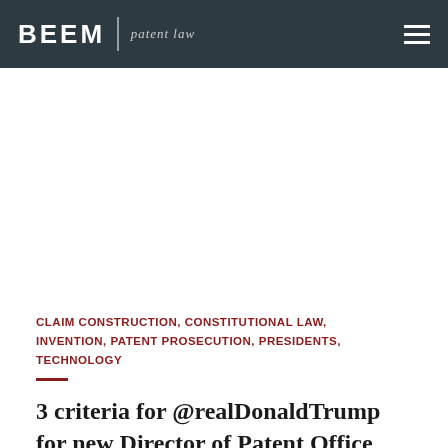BEEM | patent law
CLAIM CONSTRUCTION, CONSTITUTIONAL LAW, INVENTION, PATENT PROSECUTION, PRESIDENTS, TECHNOLOGY
3 criteria for @realDonaldTrump for new Director of Patent Office